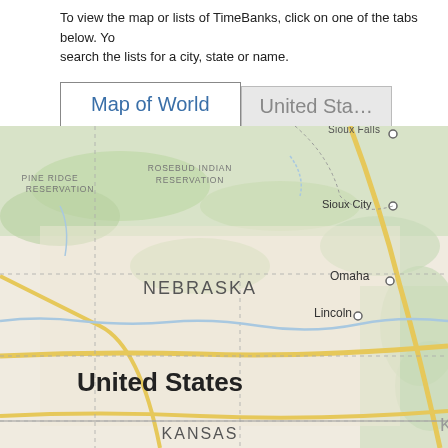To view the map or lists of TimeBanks, click on one of the tabs below. Yo search the lists for a city, state or name.
[Figure (map): A cropped world/US map showing the Nebraska region of the United States, with labels for Pine Ridge Reservation, Rosebud Indian Reservation, Sioux Falls, Sioux City, Omaha, Lincoln, Nebraska, United States, Kansas. Map displayed in the tab 'Map of World'. A second tab 'United Sta...' is partially visible.]